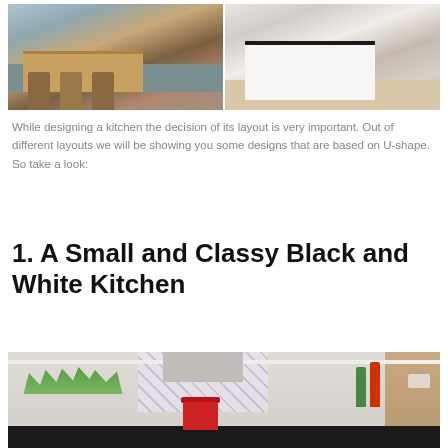[Figure (photo): Two kitchen photos side by side: left shows a kitchen island with wooden countertop and bar stools in teal/gray tones; right shows a white kitchen island with black countertop on light wood flooring.]
While designing a kitchen the decision of its layout is very important. Out of different layouts we will be showing you some designs that are based on U-shape. So take a look:
1. A Small and Classy Black and White Kitchen
[Figure (photo): Small black and white kitchen with U-shape layout showing open shelves with potted plants, decorative patterned tile backsplash, stainless steel range hood, red pot on stove, and black countertops. Right side has wooden wall finish with bottles.]